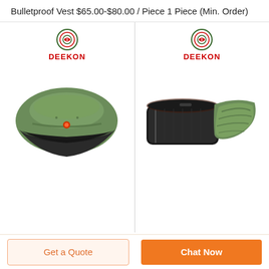Bulletproof Vest $65.00-$80.00 / Piece 1 Piece (Min. Order)
[Figure (photo): Two product panels side by side: left panel shows a DEEKON-branded military officer cap in olive green with black brim and red badge; right panel shows a DEEKON-branded olive green mummy sleeping bag, partially open. Both panels have the DEEKON logo (target/crosshair icon with red 'D' and red bold DEEKON text) at the top.]
Get a Quote
Chat Now